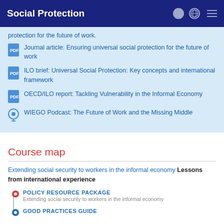Social Protection
protection for the future of work.
Journal article: Ensuring universal social protection for the future of work
ILO brief: Universal Social Protection: Key concepts and international framework
OECD/ILO report: Tackling Vulnerability in the Informal Economy
WIEGO Podcast: The Future of Work and the Missing Middle
Course map
Extending social security to workers in the informal economy Lessons from international experience
POLICY RESOURCE PACKAGE
Extending social security to workers in the informal economy
GOOD PRACTICES GUIDE